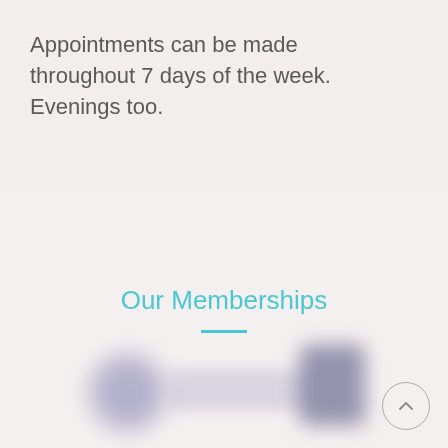Appointments can be made throughout 7 days of the week. Evenings too.
Our Memberships
[Figure (illustration): Blurred/redacted membership card thumbnails with circular scroll-to-top button]